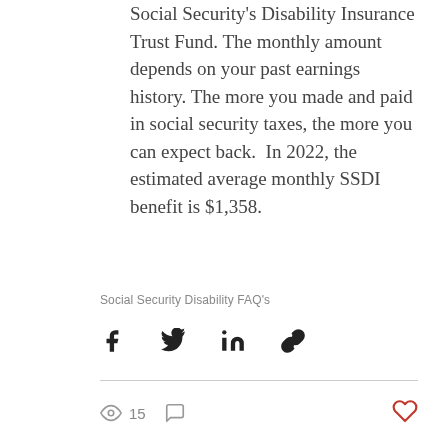Social Security's Disability Insurance Trust Fund. The monthly amount depends on your past earnings history. The more you made and paid in social security taxes, the more you can expect back.  In 2022, the estimated average monthly SSDI benefit is $1,358.
Social Security Disability FAQ's
[Figure (infographic): Social share icons: Facebook, Twitter, LinkedIn, and link/copy icon]
[Figure (infographic): Stats row: eye icon with 15 views, comment bubble icon, and a red heart/like button on the right]